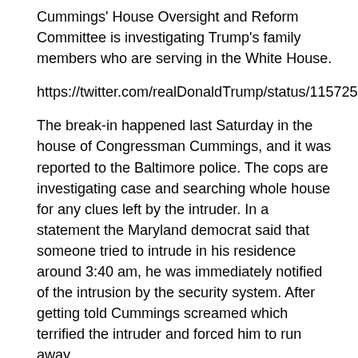Cummings' House Oversight and Reform Committee is investigating Trump's family members who are serving in the White House.
https://twitter.com/realDonaldTrump/status/1157259424794324992
The break-in happened last Saturday in the house of Congressman Cummings, and it was reported to the Baltimore police. The cops are investigating case and searching whole house for any clues left by the intruder. In a statement the Maryland democrat said that someone tried to intrude in his residence around 3:40 am, he was immediately notified of the intrusion by the security system. After getting told Cummings screamed which terrified the intruder and forced him to run away.